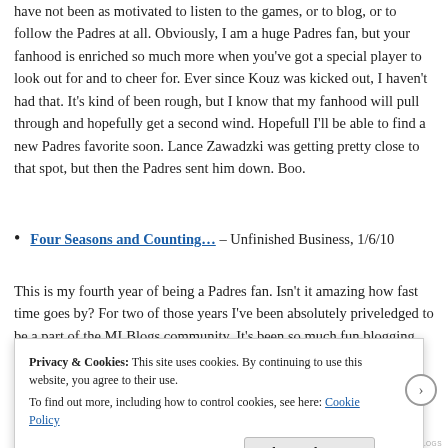have not been as motivated to listen to the games, or to blog, or to follow the Padres at all. Obviously, I am a huge Padres fan, but your fanhood is enriched so much more when you've got a special player to look out for and to cheer for. Ever since Kouz was kicked out, I haven't had that. It's kind of been rough, but I know that my fanhood will pull through and hopefully get a second wind. Hopefull I'll be able to find a new Padres favorite soon. Lance Zawadzki was getting pretty close to that spot, but then the Padres sent him down. Boo.
Four Seasons and Counting… – Unfinished Business, 1/6/10
This is my fourth year of being a Padres fan. Isn't it amazing how fast time goes by? For two of those years I've been absolutely priveledged to be a part of the MLBlogs community. It's been so much fun blogging here. I am so thankful that I got to be in this group of baseball lovers. I don't think m... a...
Privacy & Cookies: This site uses cookies. By continuing to use this website, you agree to their use. To find out more, including how to control cookies, see here: Cookie Policy
Close and accept